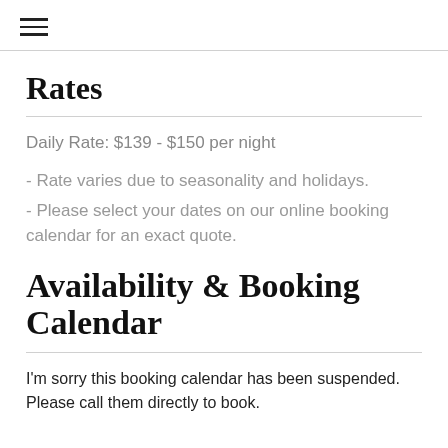≡
Rates
Daily Rate: $139 - $150 per night
- Rate varies due to seasonality and holidays.
- Please select your dates on our online booking calendar for an exact quote.
Availability & Booking Calendar
I'm sorry this booking calendar has been suspended. Please call them directly to book.